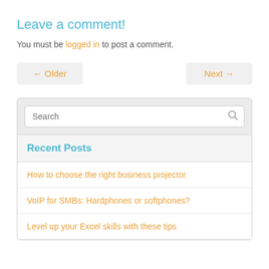Leave a comment!
You must be logged in to post a comment.
← Older
Next →
Search
Recent Posts
How to choose the right business projector
VoIP for SMBs: Hardphones or softphones?
Level up your Excel skills with these tips